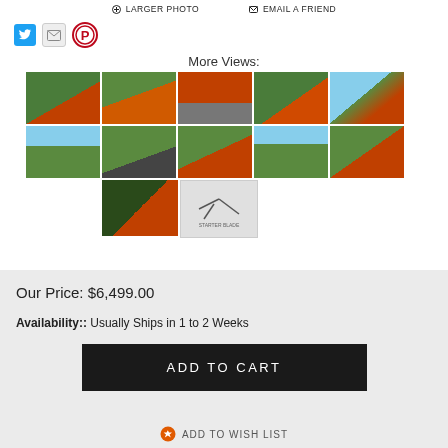LARGER PHOTO   EMAIL A FRIEND
[Figure (other): Social sharing icons: Twitter (blue bird), Email (envelope), Pinterest (P circle)]
More Views:
[Figure (photo): Grid of product thumbnail photos showing orange zero-turn mower / flail mower attachment in various field settings, plus close-up of blades and a diagram]
Our Price: $6,499.00
Availability:: Usually Ships in 1 to 2 Weeks
ADD TO CART
ADD TO WISH LIST